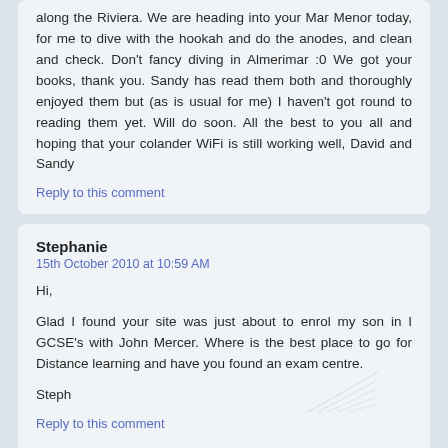along the Riviera. We are heading into your Mar Menor today, for me to dive with the hookah and do the anodes, and clean and check. Don't fancy diving in Almerimar :0 We got your books, thank you. Sandy has read them both and thoroughly enjoyed them but (as is usual for me) I haven't got round to reading them yet. Will do soon. All the best to you all and hoping that your colander WiFi is still working well, David and Sandy
Reply to this comment
Stephanie
15th October 2010 at 10:59 AM
Hi,
Glad I found your site was just about to enrol my son in I GCSE's with John Mercer. Where is the best place to go for Distance learning and have you found an exam centre.
Steph
Reply to this comment
Caesar (Mollymawk crew)